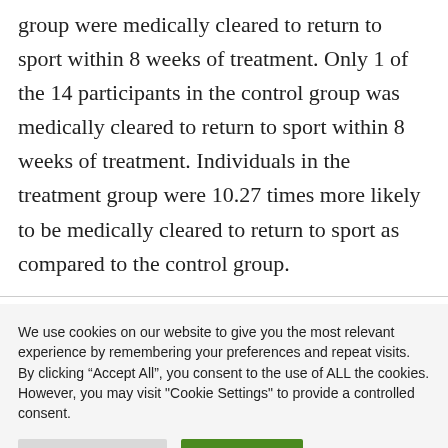group were medically cleared to return to sport within 8 weeks of treatment. Only 1 of the 14 participants in the control group was medically cleared to return to sport within 8 weeks of treatment. Individuals in the treatment group were 10.27 times more likely to be medically cleared to return to sport as compared to the control group.
We use cookies on our website to give you the most relevant experience by remembering your preferences and repeat visits. By clicking "Accept All", you consent to the use of ALL the cookies. However, you may visit "Cookie Settings" to provide a controlled consent.